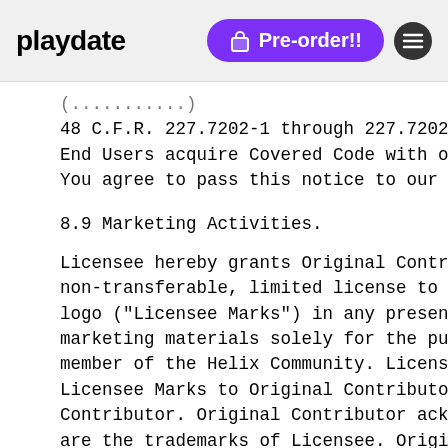playdate | Pre-order!!
48 C.F.R. 227.7202-1 through 227.7202-
End Users acquire Covered Code with on
You agree to pass this notice to our l
8.9 Marketing Activities.
Licensee hereby grants Original Contri
non-transferable, limited license to u
logo ("Licensee Marks") in any present
marketing materials solely for the pur
member of the Helix Community. License
Licensee Marks to Original Contributor
Contributor. Original Contributor ackn
are the trademarks of Licensee. Origin
Licensee Marks in a way that may imply
agency or branch of Licensee. Original
agrees that the use of any Licensee Ma